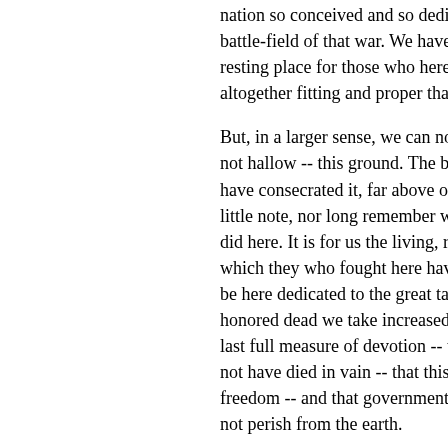nation so conceived and so dedicated, can battle-field of that war. We have come to resting place for those who here gave th altogether fitting and proper that we shou
But, in a larger sense, we can not dedica not hallow -- this ground. The brave men have consecrated it, far above our poor p little note, nor long remember what we sa did here. It is for us the living, rather, to b which they who fought here have thus fa be here dedicated to the great task rema honored dead we take increased devotio last full measure of devotion -- that we he not have died in vain -- that this nation, u freedom -- and that government of the pe not perish from the earth.
Abraham Lincoln
November 19, 1863
(This is the official Bliss Copy of the Gett President Lincoln's own hand, in print no
For further details, here is the entry on th